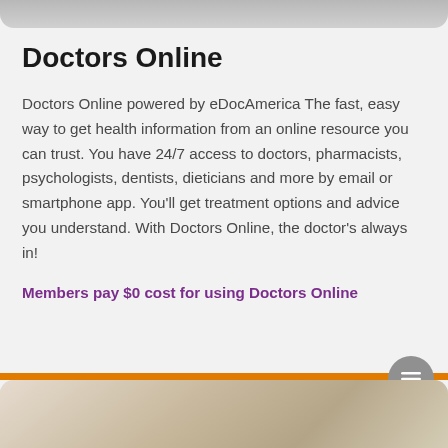[Figure (photo): Top portion of a photo, clipped at top of page, showing partial image]
Doctors Online
Doctors Online powered by eDocAmerica The fast, easy way to get health information from an online resource you can trust. You have 24/7 access to doctors, pharmacists, psychologists, dentists, dieticians and more by email or smartphone app. You’ll get treatment options and advice you understand. With Doctors Online, the doctor’s always in!
Members pay $0 cost for using Doctors Online
[Figure (photo): Bottom portion of a photo showing a person, clipped at bottom of page]